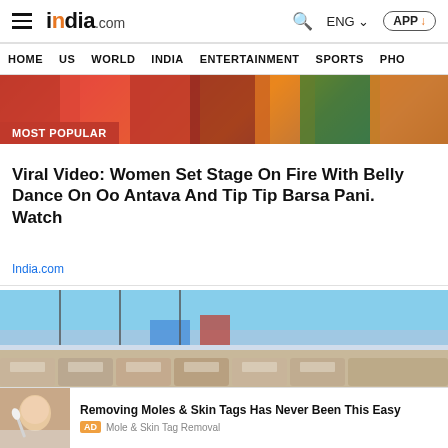india.com — HOME US WORLD INDIA ENTERTAINMENT SPORTS PHO
[Figure (photo): Colorful image with red, orange, and green tones, showing people in bright clothing. Badge reads MOST POPULAR.]
Viral Video: Women Set Stage On Fire With Belly Dance On Oo Antava And Tip Tip Barsa Pani. Watch
India.com
[Figure (photo): Large parking lot filled with rows of cars under a clear blue sky with mountains in the background. Button reads READ IN APP.]
Removing Moles & Skin Tags Has Never Been This Easy
AD Mole & Skin Tag Removal